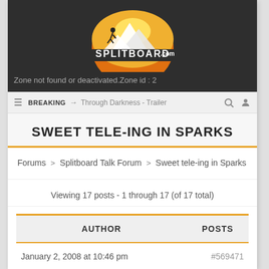[Figure (logo): Splitboard.com logo: mountain silhouette with orange/yellow gradient, skier figure, white text SPLITBOARD.COM on dark background]
Zone not found or deactivated.Zone id : 2
≡ BREAKING → Through Darkness - Trailer 🔍 👤
SWEET TELE-ING IN SPARKS
Forums > Splitboard Talk Forum > Sweet tele-ing in Sparks
Viewing 17 posts - 1 through 17 (of 17 total)
| AUTHOR | POSTS |
| --- | --- |
| January 2, 2008 at 10:46 pm | #569471 |